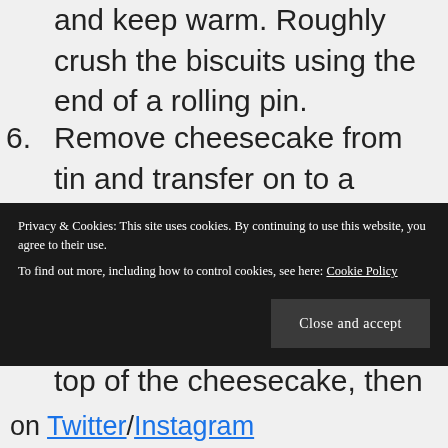and keep warm. Roughly crush the biscuits using the end of a rolling pin.
6. Remove cheesecake from tin and transfer on to a serving plate or cake stand. Peel off parchment paper around sides. Drizzle half the melted spread over the top of the cheesecake, then scatter the biscuits on top. Drizzle over the remaining spread. Serve in slices
Privacy & Cookies: This site uses cookies. By continuing to use this website, you agree to their use.
To find out more, including how to control cookies, see here: Cookie Policy
on Twitter/Instagram